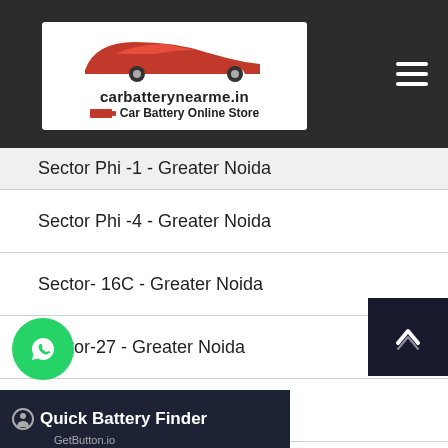carbatterynearme.in - Car Battery Online Store
Sector Phi -1 - Greater Noida
Sector Phi -4 - Greater Noida
Sector- 16C - Greater Noida
Sector-27 - Greater Noida
Sector-36 - Greater Noida
Sector-Tech Zone - Greater Noida
beri - Greater Noida
Quick Battery Finder